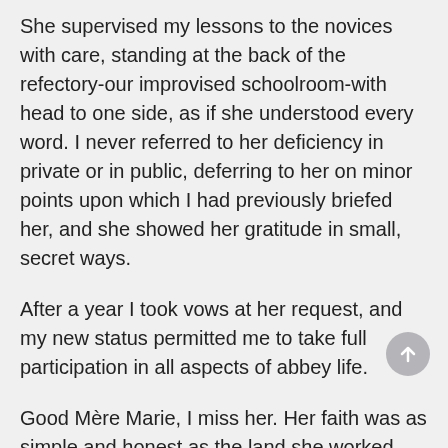She supervised my lessons to the novices with care, standing at the back of the refectory-our improvised schoolroom-with head to one side, as if she understood every word. I never referred to her deficiency in private or in public, deferring to her on minor points upon which I had previously briefed her, and she showed her gratitude in small, secret ways.
After a year I took vows at her request, and my new status permitted me to take full participation in all aspects of abbey life.
Good Mère Marie, I miss her. Her faith was as simple and honest as the land she worked. She rarely punished-not that there was much to punish in any case-seeing sin